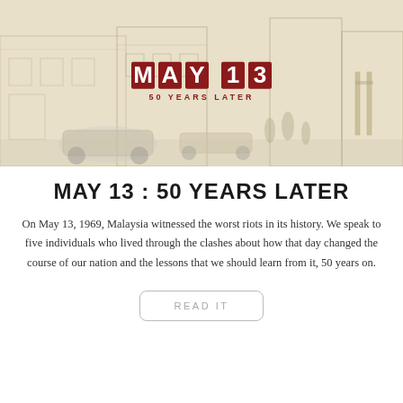[Figure (illustration): Sepia-toned sketch of a street scene with old buildings and vintage cars. Overlaid with a red block-letter logo reading 'MAY 13' and subtitle '50 YEARS LATER' in red text.]
MAY 13 : 50 YEARS LATER
On May 13, 1969, Malaysia witnessed the worst riots in its history. We speak to five individuals who lived through the clashes about how that day changed the course of our nation and the lessons that we should learn from it, 50 years on.
READ IT